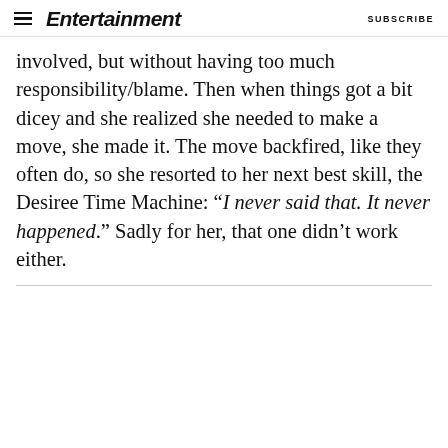Entertainment Weekly | SUBSCRIBE
involved, but without having too much responsibility/blame. Then when things got a bit dicey and she realized she needed to make a move, she made it. The move backfired, like they often do, so she resorted to her next best skill, the Desiree Time Machine: “I never said that. It never happened.” Sadly for her, that one didn’t work either.